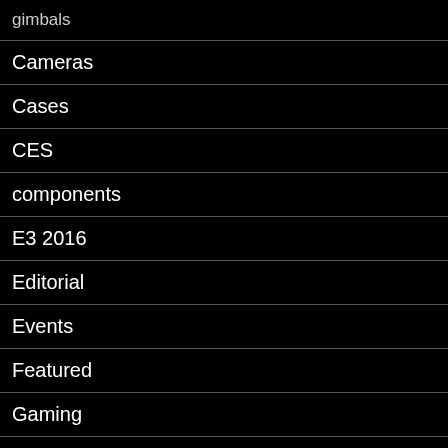gimbals
Cameras
Cases
CES
components
E3 2016
Editorial
Events
Featured
Gaming
Giveaways
Hardware
How To